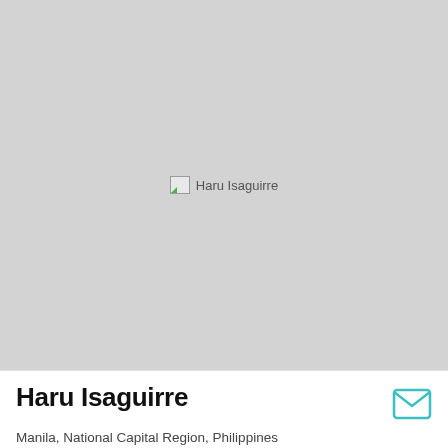[Figure (photo): Profile photo placeholder for Haru Isaguirre — large grey rectangle with broken image indicator showing 'Haru Isaguirre' alt text in the center]
Haru Isaguirre
Manila, National Capital Region, Philippines